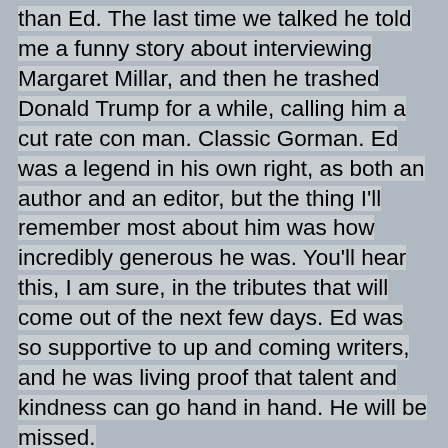than Ed. The last time we talked he told me a funny story about interviewing Margaret Millar, and then he trashed Donald Trump for a while, calling him a cut rate con man. Classic Gorman. Ed was a legend in his own right, as both an author and an editor, but the thing I'll remember most about him was how incredibly generous he was. You'll hear this, I am sure, in the tributes that will come out of the next few days. Ed was so supportive to up and coming writers, and he was living proof that talent and kindness can go hand in hand. He will be missed.
at 12:12 PM   1 comment:
Share
FRIDAY, OCTOBER 7, 2016
HELL ON CHURCH STREET
[Figure (photo): Dark/black image at bottom of page, partially visible]